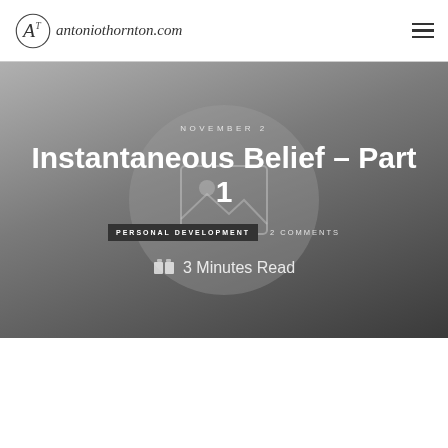antoniothornton.com
NOVEMBER 2
Instantaneous Belief – Part 1
PERSONAL DEVELOPMENT   2 COMMENTS
3 Minutes Read